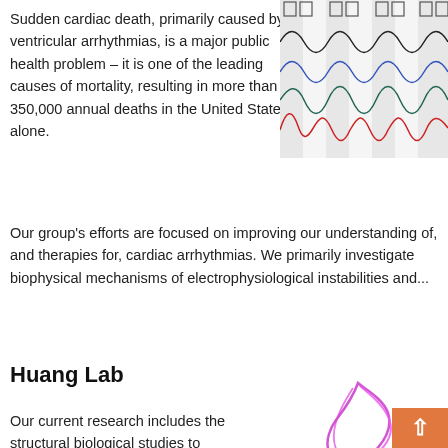Sudden cardiac death, primarily caused by ventricular arrhythmias, is a major public health problem – it is one of the leading causes of mortality, resulting in more than 350,000 annual deaths in the United States alone. Our group's efforts are focused on improving our understanding of, and therapies for, cardiac arrhythmias. We primarily investigate biophysical mechanisms of electrophysiological instabilities and...
[Figure (continuous-plot): Multi-channel waveform/ECG traces showing four overlapping signal lines (black, blue, dark teal, red) with shaded gray regions, resembling cardiac electrophysiology or action potential recordings.]
Huang Lab
[Figure (illustration): Colorful ribbon diagram of a protein structure (likely a G-protein coupled receptor complex) with magenta, green, blue, and red helical subunits.]
Our current research includes the structural biological studies to understand the mechanisms by which G-protein-coupled receptors activate G-proteins, and translational cancer biology. We are developing small-molecule compounds to block tumor cell migration, invasion and metastasis, as well as to reinvigorate anti-tumor immune response. We also investigate the physiological